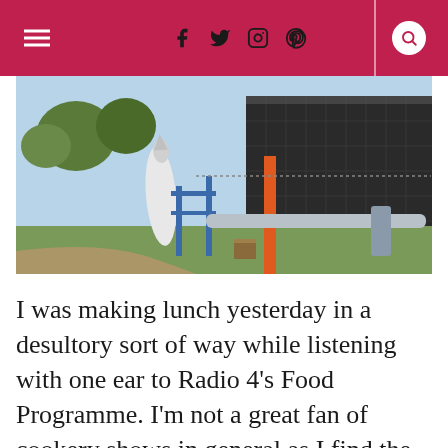Social media icons: f, twitter, instagram, pinterest, search
[Figure (photo): Outdoor photo showing a large industrial or aerospace structure (possibly a rocket or aircraft fuselage) on display outside a modern building, with trees and a dirt path visible]
I was making lunch yesterday in a desultory sort of way while listening with one ear to Radio 4's Food Programme. I'm not a great fan of cookery shows in general as I find the more I watch, the less I cook – no matter how delightfully last-minute and unstuffy the chef is, there is something very intimidating about seeing their daily…